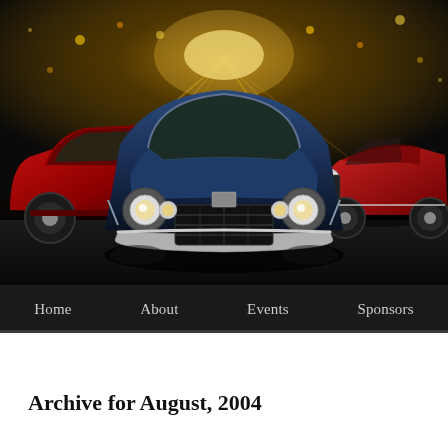[Figure (photo): Banner photo showing three classic cars parked side by side at night: a red vintage hot rod on the left, a blue 1970s muscle car (Camaro) in the center facing forward, and a red convertible on the right. The background shows a city street with bright headlights and bokeh lights.]
Home   About   Events   Sponsors
Archive for August, 2004